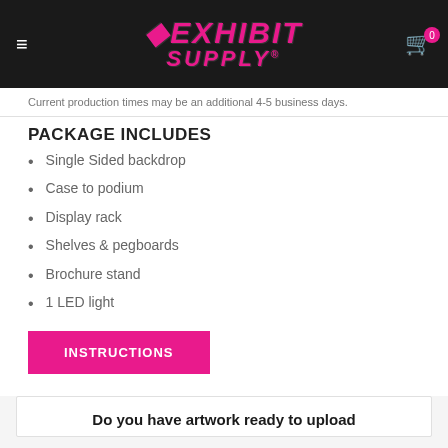Exhibit Supply
Current production times may be an additional 4-5 business days.
PACKAGE INCLUDES
Single Sided backdrop
Case to podium
Display rack
Shelves & pegboards
Brochure stand
1 LED light
INSTRUCTIONS
Do you have artwork ready to upload